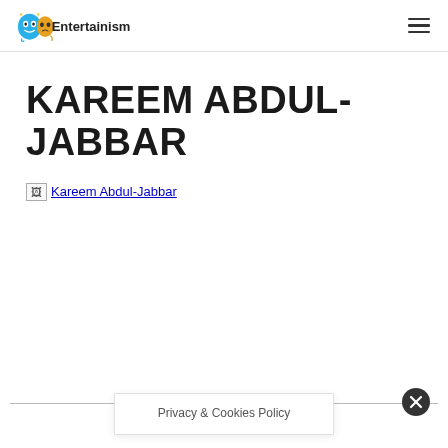Entertainism
KAREEM ABDUL-JABBAR
[Figure (photo): Broken image placeholder link for Kareem Abdul-Jabbar photo]
Privacy & Cookies Policy